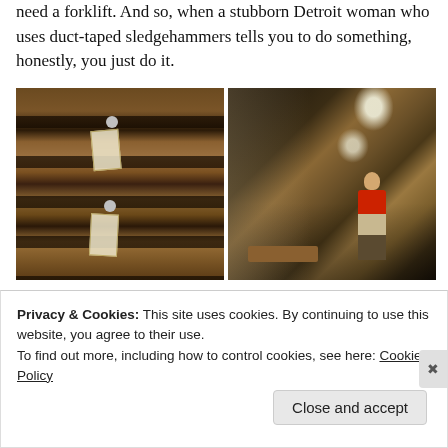need a forklift. And so, when a stubborn Detroit woman who uses duct-taped sledgehammers tells you to do something, honestly, you just do it.
[Figure (photo): Two photos side by side: left shows close-up of rustic wooden planks with metal bolt/screw hardware and hanging price tags; right shows a man in a red shirt standing in a long corridor with reclaimed wood panels and old windows lining the walls.]
Privacy & Cookies: This site uses cookies. By continuing to use this website, you agree to their use.
To find out more, including how to control cookies, see here: Cookie Policy